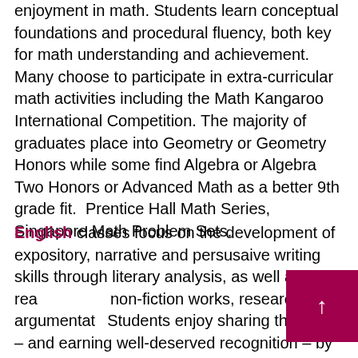enjoyment in math. Students learn conceptual foundations and procedural fluency, both key for math understanding and achievement. Many choose to participate in extra-curricular math activities including the Math Kangaroo International Competition. The majority of graduates place into Geometry or Geometry Honors while some find Algebra or Algebra Two Honors or Advanced Math as a better 9th grade fit. Prentice Hall Math Series, Singapore Math Problem Sets.
English classes focus on the development of expository, narrative and persusaive writing skills through literary analysis, as well as close reading of non-fiction works, research, and argumentation. Students enjoy sharing their work – and earning well-deserved recognition – by participating in our annual